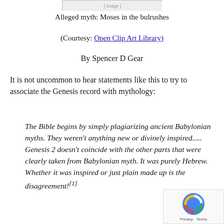[Figure (illustration): Partial image at top — Moses in the bulrushes illustration (cropped)]
Alleged myth: Moses in the bulrushes
(Courtesy: Open Clip Art Library)
By Spencer D Gear
It is not uncommon to hear statements like this to try to associate the Genesis record with mythology:
The Bible begins by simply plagiarizing ancient Babylonian myths. They weren't anything new or divinely inspired..... Genesis 2 doesn't coincide with the other parts that were clearly taken from Babylonian myth. It was purely Hebrew. Whether it was inspired or just plain made up is the disagreement![1]